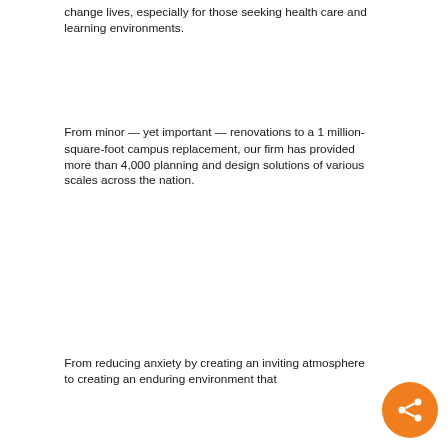change lives, especially for those seeking health care and learning environments.
From minor — yet important — renovations to a 1 million-square-foot campus replacement, our firm has provided more than 4,000 planning and design solutions of various scales across the nation.
From reducing anxiety by creating an inviting atmosphere to creating an enduring environment that